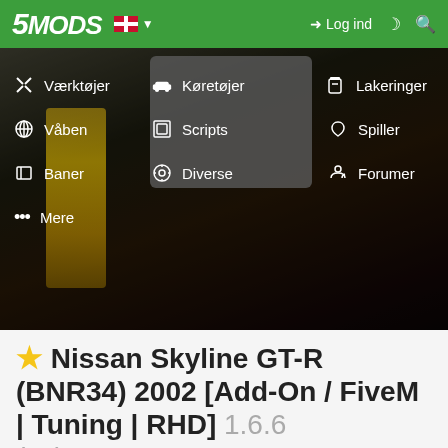5MODS — Log ind
[Figure (screenshot): 5MODS website navigation menu with dropdown open on Køretøjer. Menu items: Værktøjer, Køretøjer (highlighted), Lakeringer, Våben, Scripts, Spiller, Baner, Diverse, Forumer, Mere. Background shows blurred game scene.]
★ Nissan Skyline GT-R (BNR34) 2002 [Add-On / FiveM | Tuning | RHD] 1.6.6 (v2)